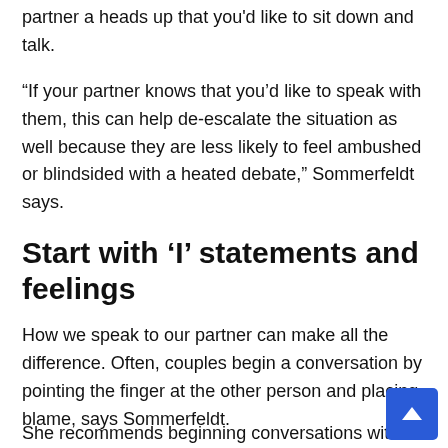partner a heads up that you'd like to sit down and talk.
“If your partner knows that you’d like to speak with them, this can help de-escalate the situation as well because they are less likely to feel ambushed or blindsided with a heated debate,” Sommerfeldt says.
Start with ‘I’ statements and feelings
How we speak to our partner can make all the difference. Often, couples begin a conversation by pointing the finger at the other person and placing blame, says Sommerfeldt.
She recommends beginning conversations with